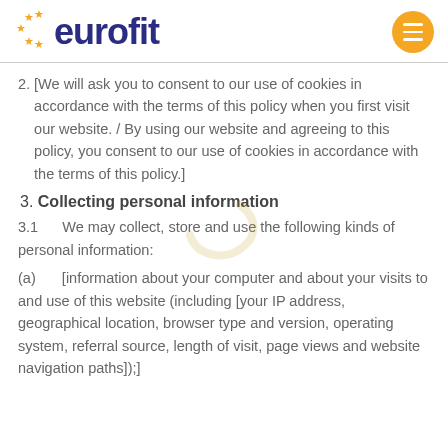eurofit
2. [We will ask you to consent to our use of cookies in accordance with the terms of this policy when you first visit our website. / By using our website and agreeing to this policy, you consent to our use of cookies in accordance with the terms of this policy.]
3. Collecting personal information
3.1   We may collect, store and use the following kinds of personal information:
(a)     [information about your computer and about your visits to and use of this website (including [your IP address, geographical location, browser type and version, operating system, referral source, length of visit, page views and website navigation paths]);]